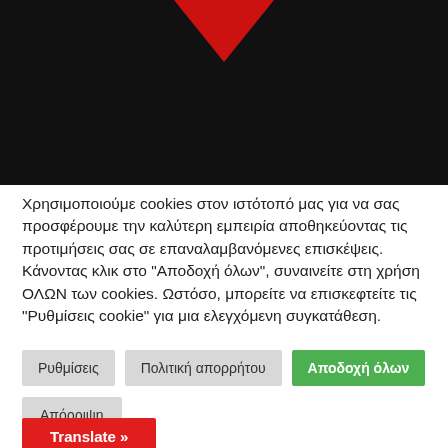[Figure (illustration): Dark/black background banner area with a red downward-pointing arrow/chevron at the top center]
Χρησιμοποιούμε cookies στον ιστότοπό μας για να σας προσφέρουμε την καλύτερη εμπειρία αποθηκεύοντας τις προτιμήσεις σας σε επαναλαμβανόμενες επισκέψεις. Κάνοντας κλικ στο "Αποδοχή όλων", συναινείτε στη χρήση ΟΛΩΝ των cookies. Ωστόσο, μπορείτε να επισκεφτείτε τις "Ρυθμίσεις cookie" για μια ελεγχόμενη συγκατάθεση.
Ρυθμίσεις | Πολιτική απορρήτου | Αποδοχή όλων
Απόρριψη
Translate »